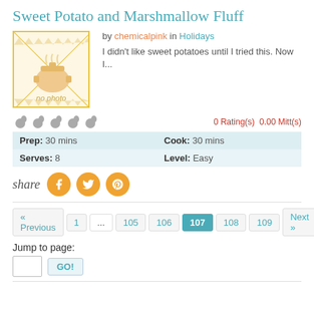Sweet Potato and Marshmallow Fluff
by chemicalpink in Holidays
I didn't like sweet potatoes until I tried this. Now I...
[Figure (illustration): No photo placeholder image with envelope-style diagonal lines, pot icon, and 'no photo' label]
0 Rating(s)  0.00 Mitt(s)
| Prep: 30 mins | Cook: 30 mins |
| Serves: 8 | Level: Easy |
share [Facebook] [Twitter] [Pinterest]
« Previous  1  ...  105  106  107  108  109  Next »
Jump to page:
GO!